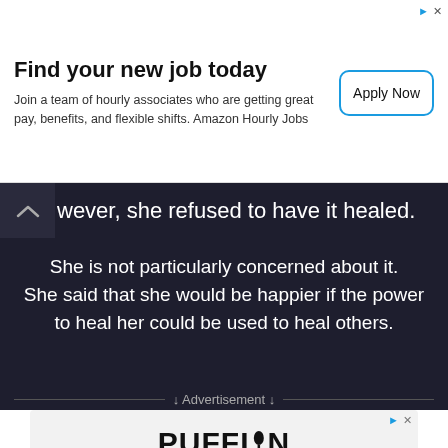[Figure (infographic): Amazon Jobs advertisement banner. Title: 'Find your new job today'. Subtitle: 'Join a team of hourly associates who are getting great pay, benefits, and flexible shifts. Amazon Hourly Jobs'. Button: 'Apply Now'.]
wever, she refused to have it healed.
She is not particularly concerned about it. She said that she would be happier if the power to heal her could be used to heal others.
↓ Advertisement ↓
[Figure (infographic): Puffin Drinkwear advertisement. Shows 'PUFFIN drinkwear' logo and red drink pouches/koozies, with a Donate button overlaid at bottom left.]